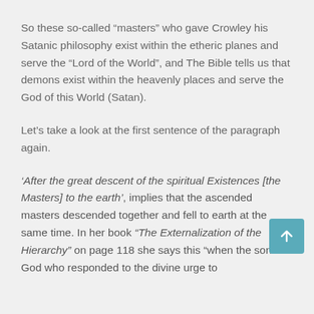So these so-called “masters” who gave Crowley his Satanic philosophy exist within the etheric planes and serve the “Lord of the World”, and The Bible tells us that demons exist within the heavenly places and serve the God of this World (Satan).
Let’s take a look at the first sentence of the paragraph again.
‘After the great descent of the spiritual Existences [the Masters] to the earth’, implies that the ascended masters descended together and fell to earth at the same time. In her book “The Externalization of the Hierarchy” on page 118 she says this “when the sons of God who responded to the divine urge to